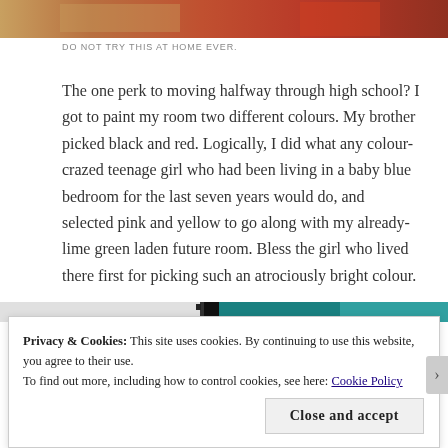[Figure (photo): Top portion of a photo showing warm-toned colors, orange and red background visible at the top of the page]
DO NOT TRY THIS AT HOME EVER.
The one perk to moving halfway through high school? I got to paint my room two different colours. My brother picked black and red. Logically, I did what any colour-crazed teenage girl who had been living in a baby blue bedroom for the last seven years would do, and selected pink and yellow to go along with my already-lime green laden future room. Bless the girl who lived there first for picking such an atrociously bright colour.
[Figure (photo): Partial bottom image strip showing dark teal/turquoise tones]
Privacy & Cookies: This site uses cookies. By continuing to use this website, you agree to their use.
To find out more, including how to control cookies, see here: Cookie Policy
Close and accept